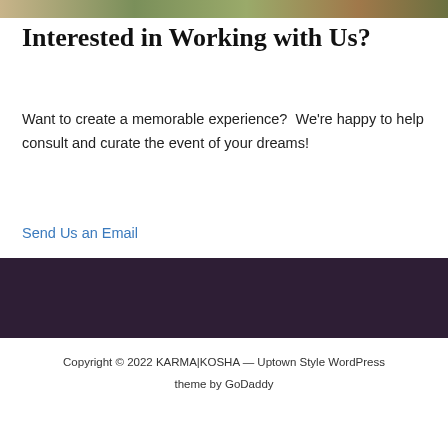[Figure (photo): Top strip of a photo showing a person outdoors, partially cropped]
Interested in Working with Us?
Want to create a memorable experience?  We're happy to help consult and curate the event of your dreams!
Send Us an Email
[Figure (other): Dark purple/maroon footer band]
Copyright © 2022 KARMA|KOSHA — Uptown Style WordPress theme by GoDaddy